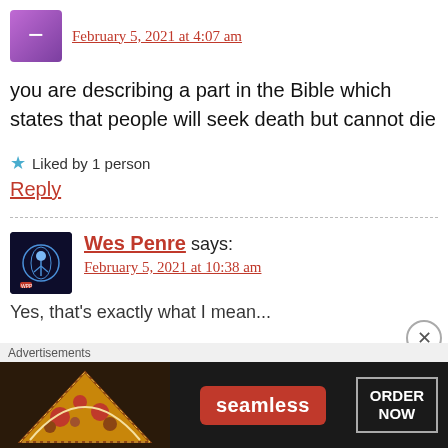February 5, 2021 at 4:07 am
you are describing a part in the Bible which states that people will seek death but cannot die
Liked by 1 person
Reply
Wes Penre says:
February 5, 2021 at 10:38 am
Advertisements
[Figure (other): Seamless food delivery advertisement banner with pizza image, Seamless logo in red, and ORDER NOW button]